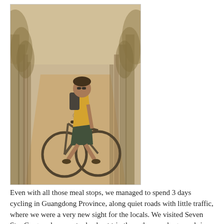[Figure (photo): A vintage photograph of a person riding a bicycle on a wide dirt road lined with trees on both sides. The cyclist is wearing a yellow top, dark shorts, sunglasses and a backpack. The photo has a warm sepia/faded-orange tone typical of older film photography. In the background another cyclist is visible far down the road.]
Even with all those meal stops, we managed to spend 3 days cycling in Guangdong Province, along quiet roads with little traffic, where we were a very new sight for the locals. We visited Seven Star Crags, where we took a boat trip through an underground river, played the black market and got to buy and let off an obscene amount of rockets and fireworks. The next paragraphs are cut off at the bottom.